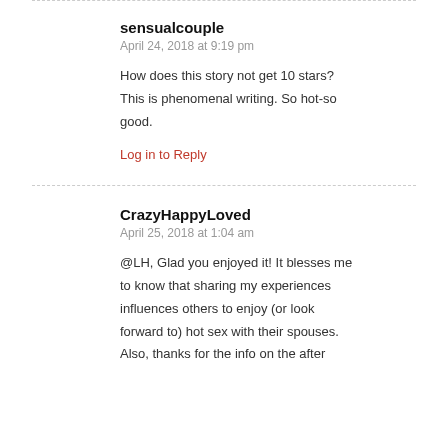sensualcouple
April 24, 2018 at 9:19 pm
How does this story not get 10 stars? This is phenomenal writing. So hot-so good.
Log in to Reply
CrazyHappyLoved
April 25, 2018 at 1:04 am
@LH, Glad you enjoyed it! It blesses me to know that sharing my experiences influences others to enjoy (or look forward to) hot sex with their spouses. Also, thanks for the info on the after